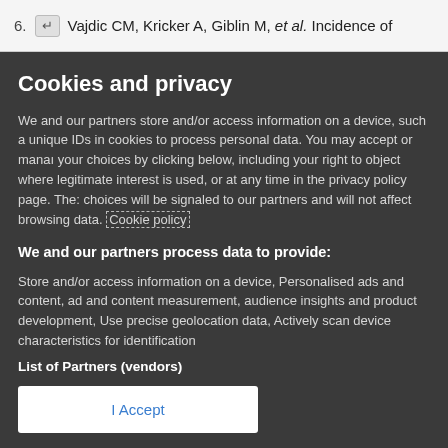6. Vajdic CM, Kricker A, Giblin M, et al. Incidence of
Cookies and privacy
We and our partners store and/or access information on a device, such a unique IDs in cookies to process personal data. You may accept or manage your choices by clicking below, including your right to object where legitimate interest is used, or at any time in the privacy policy page. These choices will be signaled to our partners and will not affect browsing data. Cookie policy
We and our partners process data to provide:
Store and/or access information on a device, Personalised ads and content, ad and content measurement, audience insights and product development, Use precise geolocation data, Actively scan device characteristics for identification
List of Partners (vendors)
I Accept